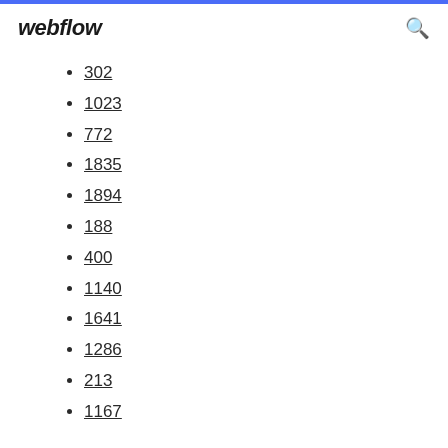webflow
302
1023
772
1835
1894
188
400
1140
1641
1286
213
1167